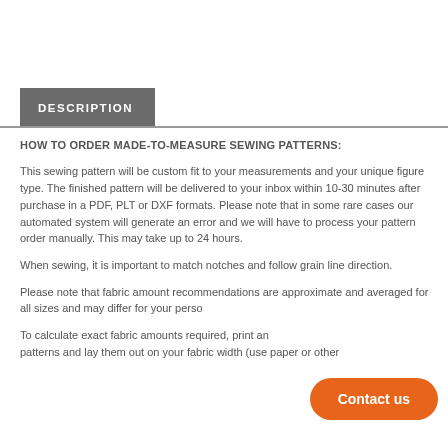DESCRIPTION
HOW TO ORDER MADE-TO-MEASURE SEWING PATTERNS:
This sewing pattern will be custom fit to your measurements and your unique figure type. The finished pattern will be delivered to your inbox within 10-30 minutes after purchase in a PDF, PLT or DXF formats. Please note that in some rare cases our automated system will generate an error and we will have to process your pattern order manually. This may take up to 24 hours.
When sewing, it is important to match notches and follow grain line direction.
Please note that fabric amount recommendations are approximate and averaged for all sizes and may differ for your perso
To calculate exact fabric amounts required, print an patterns and lay them out on your fabric width (use paper or other